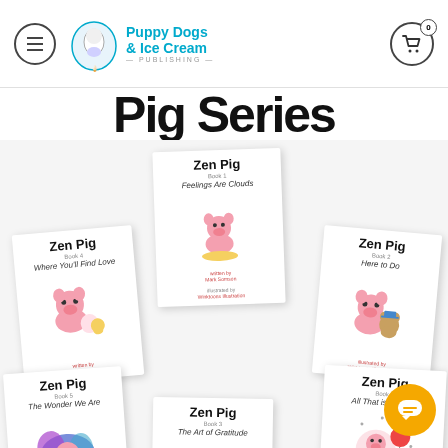Puppy Dogs & Ice Cream Publishing - navigation header with logo and cart
Pig Series
[Figure (illustration): Collection of 5 Zen Pig children's book covers arranged in a fan/spread layout. Books shown: 'Zen Pig: Feelings Are Clouds' (top center), 'Zen Pig: Where You'll Find Love' (left), 'Zen Pig: Here to Do' (right), 'Zen Pig: The Wonder We Are' (bottom left), 'Zen Pig: The Art of Gratitude' (bottom center), 'Zen Pig: All That is Needed' (bottom right). Each cover features a pink pig illustration.]